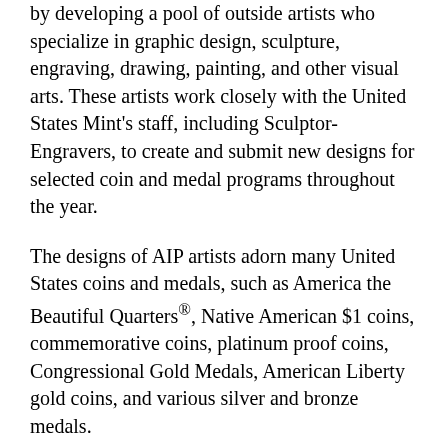by developing a pool of outside artists who specialize in graphic design, sculpture, engraving, drawing, painting, and other visual arts. These artists work closely with the United States Mint's staff, including Sculptor-Engravers, to create and submit new designs for selected coin and medal programs throughout the year.
The designs of AIP artists adorn many United States coins and medals, such as America the Beautiful Quarters®, Native American $1 coins, commemorative coins, platinum proof coins, Congressional Gold Medals, American Liberty gold coins, and various silver and bronze medals.
Artists who join the AIP work under a task order contract from their own studios across the country, providing candidate designs in the form of finished drawings. Artists are paid $2,000 to $3,000 per assignment and are awarded a $5,000 bonus if their design is selected for a coin or medal by the Secretary of the Treasury. In